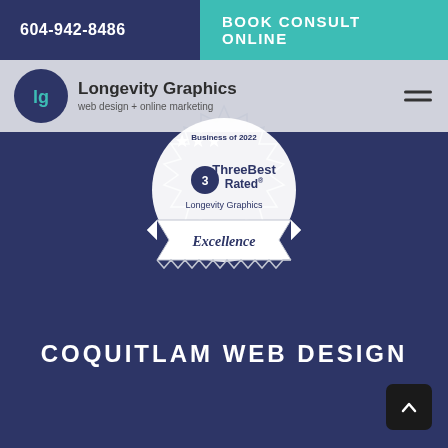604-942-8486
BOOK CONSULT ONLINE
[Figure (logo): Longevity Graphics logo: circular dark navy icon with 'lg' text in teal, beside brand name 'Longevity Graphics' and tagline 'web design + online marketing']
[Figure (other): ThreeBest Rated Business of 2022 Excellence badge for Longevity Graphics, circular white/silver badge with stars and ribbon]
COQUITLAM WEB DESIGN